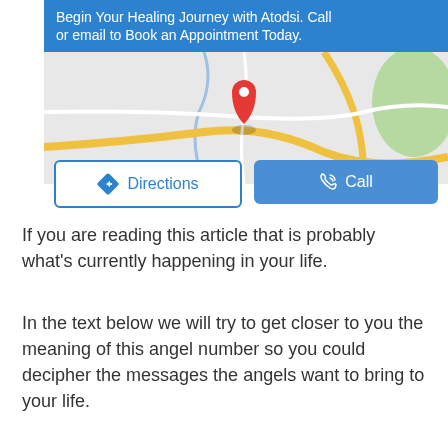[Figure (screenshot): Blue banner at top reading 'Begin Your Healing Journey with Atodsi. Call or email to Book an Appointment Today.' followed by a Google Maps screenshot showing a location pin, roads, and two buttons: Directions and Call]
If you are reading this article that is probably what's currently happening in your life.
In the text below we will try to get closer to you the meaning of this angel number so you could decipher the messages the angels want to bring to your life.